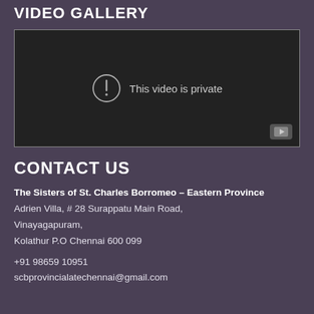VIDEO GALLERY
[Figure (screenshot): Embedded video player showing 'This video is private' message with a circle exclamation icon and YouTube watermark button in the bottom right corner.]
CONTACT US
The Sisters of St. Charles Borromeo – Eastern Province
Adrien Villa, # 28 Surappatu Main Road,
Vinayagapuram,
Kolathur P.O Chennai 600 099
+91 98659 10951
scbprovincialatechennai@gmail.com